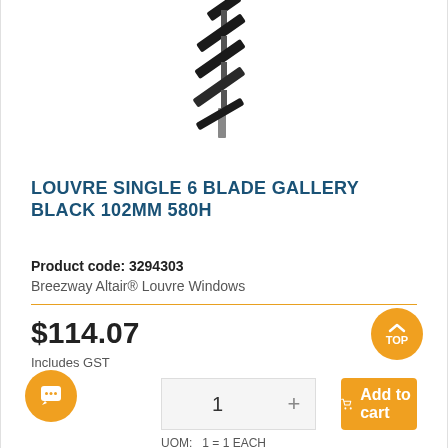[Figure (photo): Product photo of a louvre window unit with black blades, partially cropped at top of page]
LOUVRE SINGLE 6 BLADE GALLERY BLACK 102MM 580H
Product code: 3294303
Breezway Altair® Louvre Windows
$114.07
Includes GST
1
Add to cart
UOM:   1 = 1 EACH